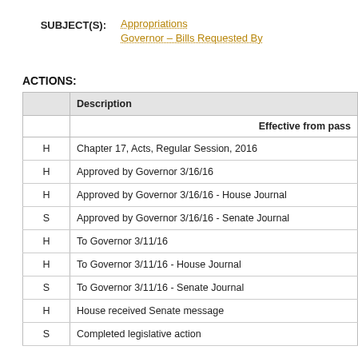SUBJECT(S): Appropriations; Governor – Bills Requested By
ACTIONS:
|  | Description |
| --- | --- |
|  | Effective from pass |
| H | Chapter 17, Acts, Regular Session, 2016 |
| H | Approved by Governor 3/16/16 |
| H | Approved by Governor 3/16/16 - House Journal |
| S | Approved by Governor 3/16/16 - Senate Journal |
| H | To Governor 3/11/16 |
| H | To Governor 3/11/16 - House Journal |
| S | To Governor 3/11/16 - Senate Journal |
| H | House received Senate message |
| S | Completed legislative action |